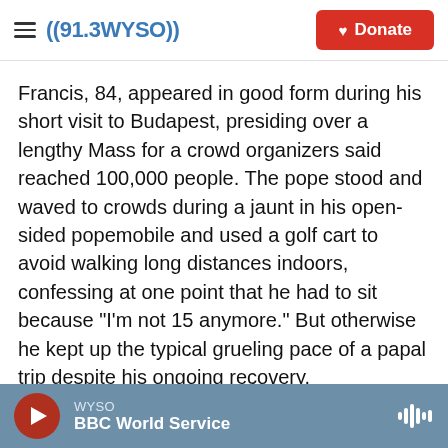((91.3 WYSO)) Donate
Francis, 84, appeared in good form during his short visit to Budapest, presiding over a lengthy Mass for a crowd organizers said reached 100,000 people. The pope stood and waved to crowds during a jaunt in his open-sided popemobile and used a golf cart to avoid walking long distances indoors, confessing at one point that he had to sit because "I'm not 15 anymore." But otherwise he kept up the typical grueling pace of a papal trip despite his ongoing recovery.
Francis only spent seven hours in Budapest before moving on Sunday afternoon to a four-day tour of
WYSO BBC World Service